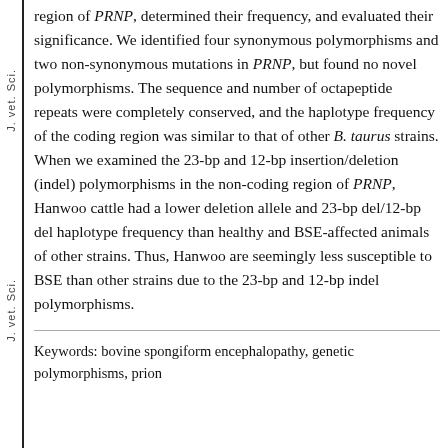J. vet. Sci.
region of PRNP, determined their frequency, and evaluated their significance. We identified four synonymous polymorphisms and two non-synonymous mutations in PRNP, but found no novel polymorphisms. The sequence and number of octapeptide repeats were completely conserved, and the haplotype frequency of the coding region was similar to that of other B. taurus strains. When we examined the 23-bp and 12-bp insertion/deletion (indel) polymorphisms in the non-coding region of PRNP, Hanwoo cattle had a lower deletion allele and 23-bp del/12-bp del haplotype frequency than healthy and BSE-affected animals of other strains. Thus, Hanwoo are seemingly less susceptible to BSE than other strains due to the 23-bp and 12-bp indel polymorphisms.
Keywords: bovine spongiform encephalopathy, genetic polymorphisms, prion